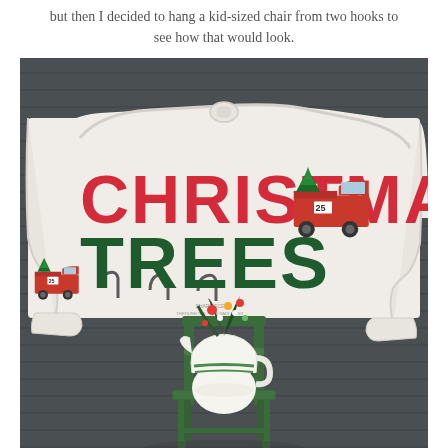but then I decided to hang a kid-sized chair from two hooks to see how that would look.
[Figure (photo): A white ornate bed headboard mounted on a gray-painted horizontal siding wall, decorated as a Christmas Trees sign with red lettering 'CHRISTMAS TREES' and dark green lettering, featuring vintage red truck illustrations carrying Christmas trees with the number 25. A small green child's chair sits in front, with a white ceramic pitcher/jug holding green pine sprigs and colorful picks on the chair seat.]